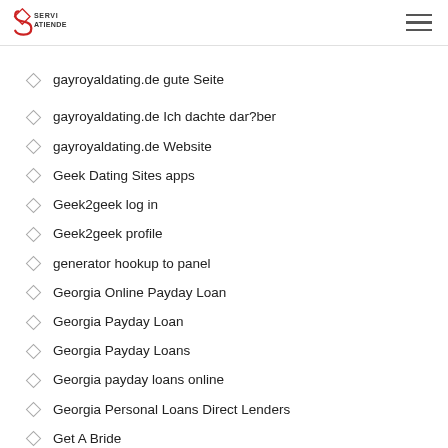SERVI ATIENDE
gayroyaldating.de Anmeldung
gayroyaldating.de gute Seite
gayroyaldating.de Ich dachte dar?ber
gayroyaldating.de Website
Geek Dating Sites apps
Geek2geek log in
Geek2geek profile
generator hookup to panel
Georgia Online Payday Loan
Georgia Payday Loan
Georgia Payday Loans
Georgia payday loans online
Georgia Personal Loans Direct Lenders
Get A Bride
get a payday loan
Get A Payday Loan Today
get a title loan
Get Android Apps